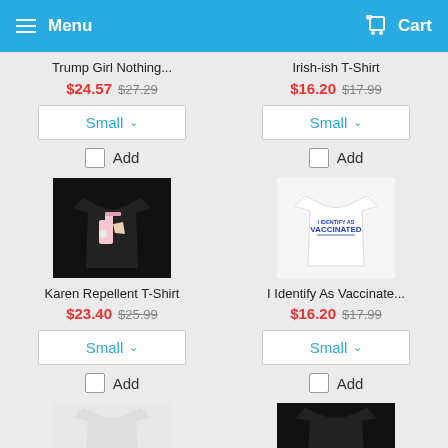Menu   Cart
Trump Girl Nothing...
$24.57  $27.29
Small
Add
[Figure (photo): Black t-shirt with spray bottle graphic - Karen Repellent T-Shirt]
Irish-ish T-Shirt
$16.20  $17.99
Small
Add
[Figure (photo): White t-shirt with I Identify As Vaccinated text]
Karen Repellent T-Shirt
$23.40  $25.99
Small
Add
I Identify As Vaccinate...
$16.20  $17.99
Small
Add
[Figure (photo): White t-shirt partially visible at bottom]
[Figure (photo): Black t-shirt partially visible at bottom]